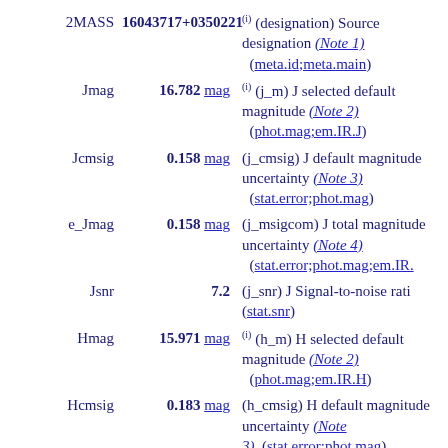2MASS 16043717+0350221 — (i) (designation) Source designation (Note 1) (meta.id;meta.main)
Jmag 16.782 mag — (i) (j_m) J selected default magnitude (Note 2) (phot.mag;em.IR.J)
Jcmsig 0.158 mag — (j_cmsig) J default magnitude uncertainty (Note 3) (stat.error;phot.mag)
e_Jmag 0.158 mag — (j_msigcom) J total magnitude uncertainty (Note 4) (stat.error;phot.mag;em.IR.J)
Jsnr 7.2 — (j_snr) J Signal-to-noise ratio (stat.snr)
Hmag 15.971 mag — (i) (h_m) H selected default magnitude (Note 2) (phot.mag;em.IR.H)
Hcmsig 0.183 mag — (h_cmsig) H default magnitude uncertainty (Note 3) (stat.error;phot.mag)
e_Hmag 0.183 mag — (h_msigcom) H total magnitude uncertainty (Note 4)